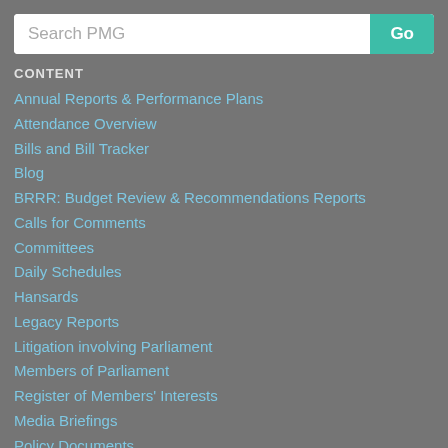[Figure (other): Search bar with text 'Search PMG' and a teal 'Go' button]
CONTENT
Annual Reports & Performance Plans
Attendance Overview
Bills and Bill Tracker
Blog
BRRR: Budget Review & Recommendations Reports
Calls for Comments
Committees
Daily Schedules
Hansards
Legacy Reports
Litigation involving Parliament
Members of Parliament
Register of Members' Interests
Media Briefings
Policy Documents
Provincial Legislatures
Questions and Replies
Recent Committee Meetings
Research